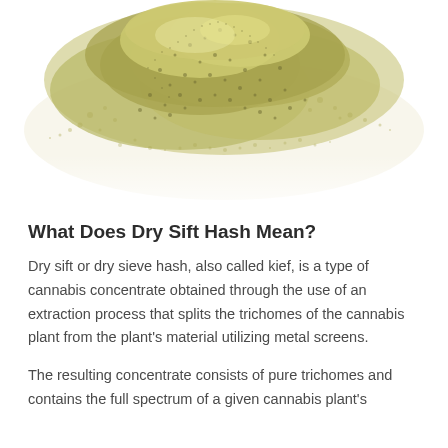[Figure (photo): A pile of yellow-green dry sift hash (kief) powder on a white background, photographed from above. The powder is concentrated in the upper-center portion of the image and tapers off toward the edges.]
What Does Dry Sift Hash Mean?
Dry sift or dry sieve hash, also called kief, is a type of cannabis concentrate obtained through the use of an extraction process that splits the trichomes of the cannabis plant from the plant's material utilizing metal screens.
The resulting concentrate consists of pure trichomes and contains the full spectrum of a given cannabis plant's